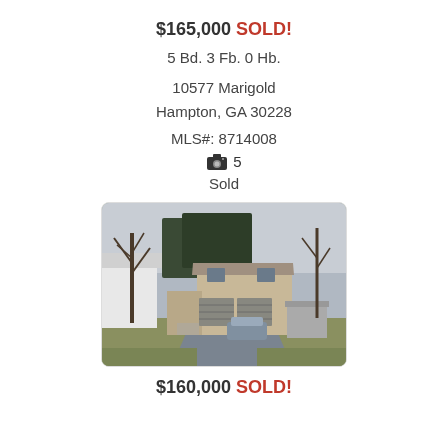$165,000 SOLD!
5 Bd. 3 Fb. 0 Hb.
10577 Marigold
Hampton, GA 30228
MLS#: 8714008
📷 5
Sold
[Figure (photo): Exterior photo of a two-story residential home with tan/beige siding, two-car garage, bare winter trees, and a wet driveway with a car parked in front. A white structure is visible on the left and a trailer on the right.]
$160,000 SOLD!